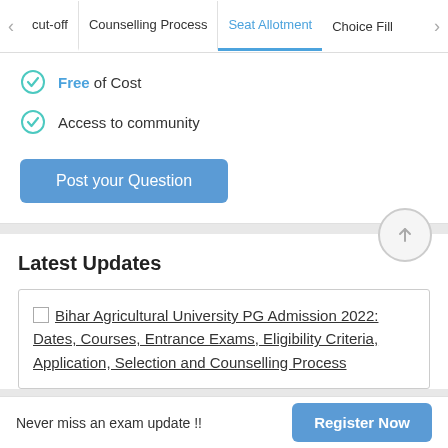Cut-off | Counselling Process | Seat Allotment | Choice Fill
Free of Cost
Access to community
Post your Question
Latest Updates
Bihar Agricultural University PG Admission 2022: Dates, Courses, Entrance Exams, Eligibility Criteria, Application, Selection and Counselling Process
Never miss an exam update !! Register Now